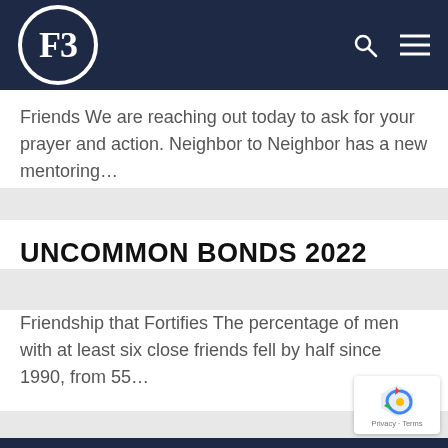F3 [logo with search and menu icons]
Friends We are reaching out today to ask for your prayer and action. Neighbor to Neighbor has a new mentoring…
UNCOMMON BONDS 2022
Friendship that Fortifies The percentage of men with at least six close friends fell by half since 1990, from 55…